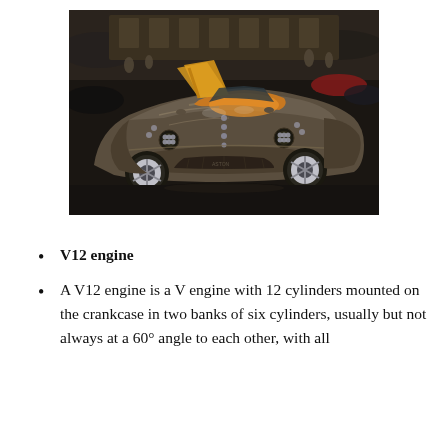[Figure (photo): A dark grey/bronze supercar with scissor doors open, displayed at an auto show. The car has an orange interior visible, silver/chrome wheel details, and is surrounded by other cars and spectators in the background.]
V12 engine
A V12 engine is a V engine with 12 cylinders mounted on the crankcase in two banks of six cylinders, usually but not always at a 60° angle to each other, with all